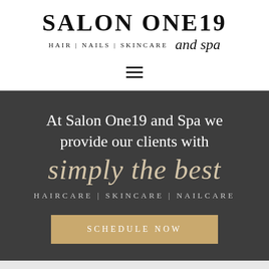SALON ONE19 and spa HAIR | NAILS | SKINCARE
[Figure (other): Hamburger menu icon — three horizontal lines]
At Salon One19 and Spa we provide our clients with simply the best
HAIRCARE | SKINCARE | NAILCARE
SCHEDULE NOW